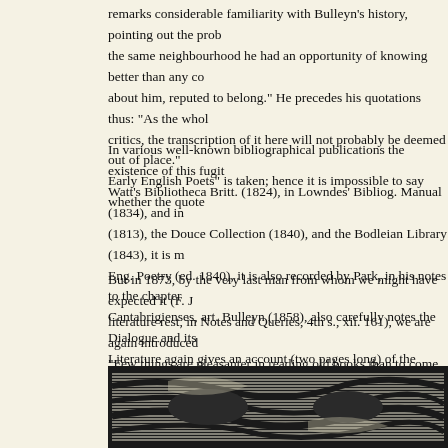remarks considerable familiarity with Bulleyn's history, pointing out the prob the same neighbourhood he had an opportunity of knowing better than any co about him, reputed to belong." He precedes his quotations thus: "As the whol critics, the transcription of it here will not probably be deemed out of place." Early English Poets" is taken; hence it is impossible to say whether the quote
In various well-known bibliographical publications the existence of this fugit Watt's Bibliotheca Britt. (1824), in Lowndes' Bibliog. Manual (1834), and in (1813), the Douce Collection (1840), and the Bodleian Library (1843), it is m Eng. Poetry (ed. 1840), it is also recorded by Park, in his notes to the chapter Cantabrigienses, art. Bulleyn (1858), also carefully notes the Dialogue and its Literature again gives an account (two pages long) of the much neglected pro preliminary remarks as quoted at p. xxvii. supra, but without the usual annou
But in 1873, by the very last man from whom we might have expected it (F. J literature rest, in Notes and Queries, 4th s., xii. 161), we are again introduced "Few things are pleasanter in reading old books than to come on a passage of as we do still. To Mr David Laing's kindness I owe the introduction to the fol and then follows once more the whole passage so often quoted for the first tir first one acquainted with the Dialogue to state that "this amusing old work is this interesting and long-fertile field of discovery may be regarded as finally e
[Figure (illustration): A black and white woodcut or engraving illustration visible at the bottom of the page, showing decorative swirling patterns and abstract or figurative elements in high contrast.]